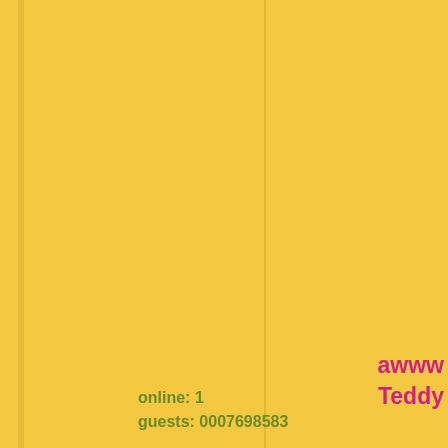awww
Teddy
i wonde
sounds
think i bette
online: 1
guests: 0007698583